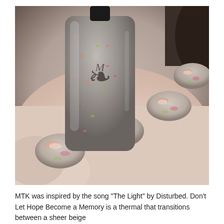[Figure (photo): Close-up photo of a hand holding a gray glitter nail polish bottle, with nails painted in a sheer beige/taupe color featuring iridescent pink and green flake shimmer. The bottle has a decorative damask label.]
MTK was inspired by the song "The Light" by Disturbed. Don't Let Hope Become a Memory is a thermal that transitions between a sheer beige